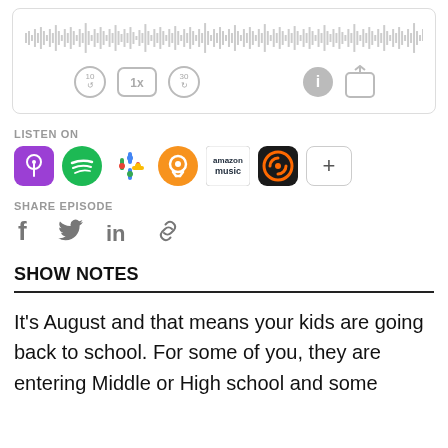[Figure (screenshot): Audio player widget with waveform and playback controls (rewind 10s, 1x speed, forward 30s, info, share)]
LISTEN ON
[Figure (infographic): Podcast platform icons: Apple Podcasts, Spotify, Google Podcasts, Overcast, Amazon Music, Pocket Casts, plus button]
SHARE EPISODE
[Figure (infographic): Social share icons: Facebook, Twitter, LinkedIn, Link]
SHOW NOTES
It's August and that means your kids are going back to school. For some of you, they are entering Middle or High school and some